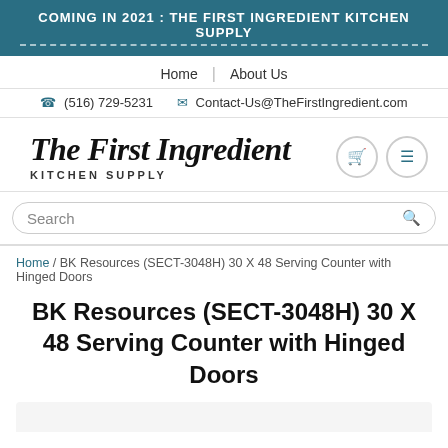COMING IN 2021 : THE FIRST INGREDIENT KITCHEN SUPPLY
Home | About Us
(516) 729-5231   Contact-Us@TheFirstIngredient.com
[Figure (logo): The First Ingredient Kitchen Supply logo in script font with KITCHEN SUPPLY subtitle, plus cart and menu icon buttons]
Search
Home / BK Resources (SECT-3048H) 30 X 48 Serving Counter with Hinged Doors
BK Resources (SECT-3048H) 30 X 48 Serving Counter with Hinged Doors